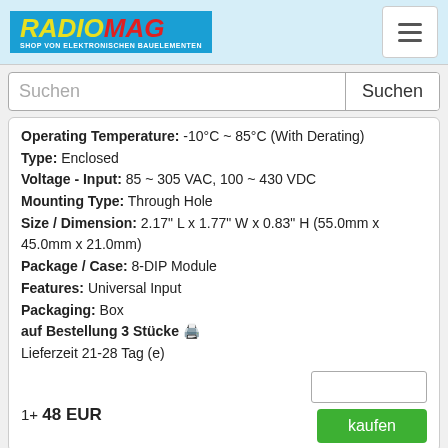RADIOMAG - SHOP VON ELEKTRONISCHEN BAUELEMENTEN
Operating Temperature: -10°C ~ 85°C (With Derating)
Type: Enclosed
Voltage - Input: 85 ~ 305 VAC, 100 ~ 430 VDC
Mounting Type: Through Hole
Size / Dimension: 2.17" L x 1.77" W x 0.83" H (55.0mm x 45.0mm x 21.0mm)
Package / Case: 8-DIP Module
Features: Universal Input
Packaging: Box
auf Bestellung 3 Stücke
Lieferzeit 21-28 Tag (e)
1+ 48 EUR
AME10-5S277PEVZ
Hersteller: DComponents
Description: 2W DC/DC Converter
Voltage - Output 1: 5V
Current - Output (Max): 2A
Efficiency: 76%
Applications: ITE (Commercial)